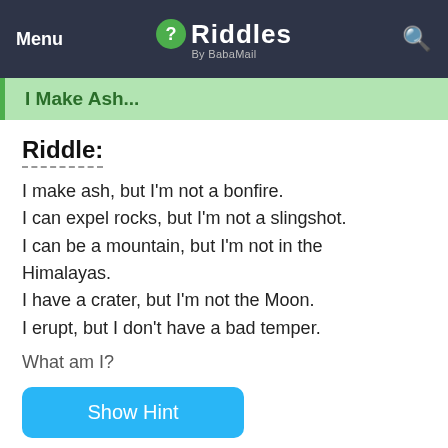Menu | Riddles By BabaMail | [Search]
I Make Ash...
Riddle:
I make ash, but I'm not a bonfire.
I can expel rocks, but I'm not a slingshot.
I can be a mountain, but I'm not in the Himalayas.
I have a crater, but I'm not the Moon.
I erupt, but I don't have a bad temper.
What am I?
Show Hint
Show Answer